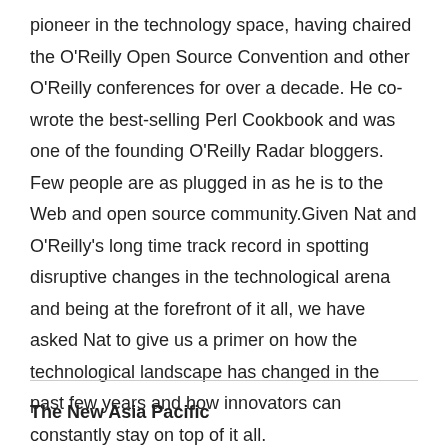pioneer in the technology space, having chaired the O'Reilly Open Source Convention and other O'Reilly conferences for over a decade. He co-wrote the best-selling Perl Cookbook and was one of the founding O'Reilly Radar bloggers. Few people are as plugged in as he is to the Web and open source community.Given Nat and O'Reilly's long time track record in spotting disruptive changes in the technological arena and being at the forefront of it all, we have asked Nat to give us a primer on how the technological landscape has changed in the past few years and how innovators can constantly stay on top of it all.
The New Asia Pacific